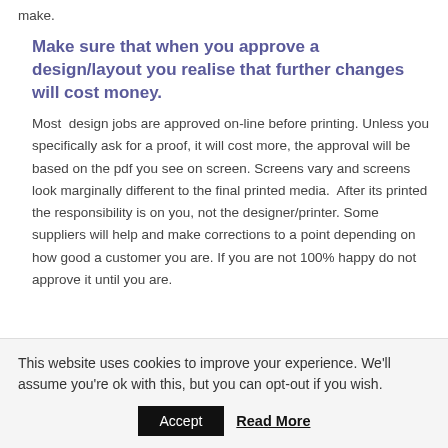make.
Make sure that when you approve a design/layout you realise that further changes will cost money.
Most design jobs are approved on-line before printing. Unless you specifically ask for a proof, it will cost more, the approval will be based on the pdf you see on screen. Screens vary and screens look marginally different to the final printed media. After its printed the responsibility is on you, not the designer/printer. Some suppliers will help and make corrections to a point depending on how good a customer you are. If you are not 100% happy do not approve it until you are.
This website uses cookies to improve your experience. We'll assume you're ok with this, but you can opt-out if you wish.
Accept   Read More